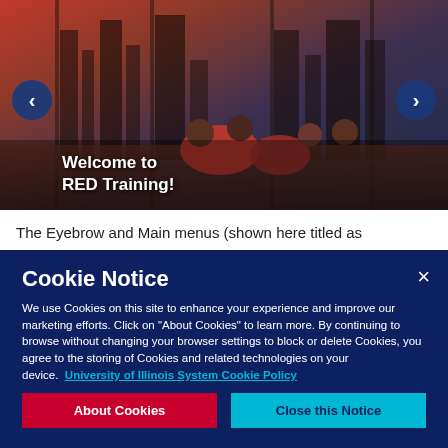[Figure (photo): Students lounging on red bean bag chairs in a modern high-rise lounge with city skyline visible through floor-to-ceiling windows. Text overlay reads 'Welcome to RED Training!' with navigation arrows on left and right.]
The Eyebrow and Main menus (shown here titled as
Cookie Notice
We use Cookies on this site to enhance your experience and improve our marketing efforts. Click on "About Cookies" to learn more. By continuing to browse without changing your browser settings to block or delete Cookies, you agree to the storing of Cookies and related technologies on your device.  University of Illinois System Cookie Policy